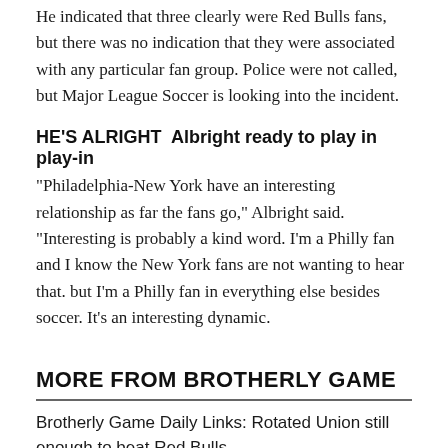He indicated that three clearly were Red Bulls fans, but there was no indication that they were associated with any particular fan group. Police were not called, but Major League Soccer is looking into the incident.
HE'S ALRIGHT  Albright ready to play in play-in
"Philadelphia-New York have an interesting relationship as far the fans go," Albright said. "Interesting is probably a kind word. I'm a Philly fan and I know the New York fans are not wanting to hear that. but I'm a Philly fan in everything else besides soccer. It's an interesting dynamic.
MORE FROM BROTHERLY GAME
Brotherly Game Daily Links: Rotated Union still enough to beat Red Bulls